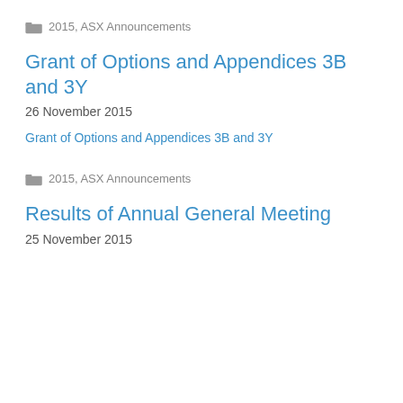2015, ASX Announcements
Grant of Options and Appendices 3B and 3Y
26 November 2015
Grant of Options and Appendices 3B and 3Y
2015, ASX Announcements
Results of Annual General Meeting
25 November 2015